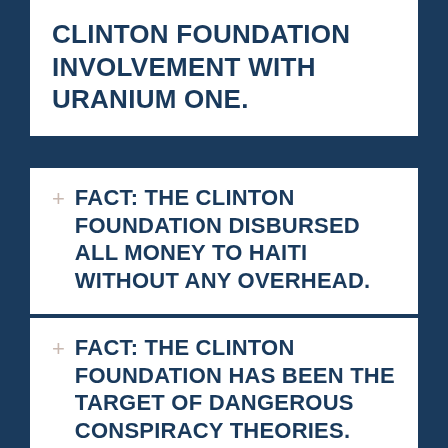CLINTON FOUNDATION INVOLVEMENT WITH URANIUM ONE.
FACT: THE CLINTON FOUNDATION DISBURSED ALL MONEY TO HAITI WITHOUT ANY OVERHEAD.
FACT: THE CLINTON FOUNDATION HAS BEEN THE TARGET OF DANGEROUS CONSPIRACY THEORIES.